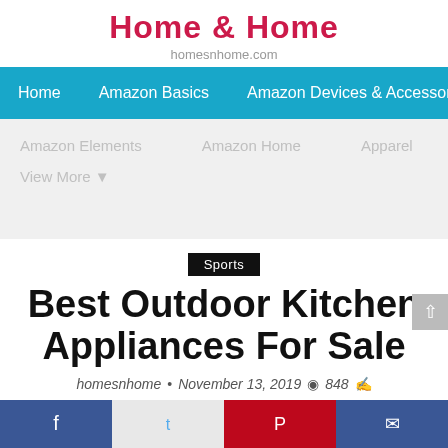Home & Home
homesnhome.com
Home  Amazon Basics  Amazon Devices & Accessories
Amazon Elements  Amazon Home  Apparel  View More
Sports
Best Outdoor Kitchen Appliances For Sale
homesnhome • November 13, 2019  848
[Figure (screenshot): Social share buttons: Save (heart icon, 0 badge), Facebook, Twitter, Pinterest, Mail]
[Figure (screenshot): Sticky bottom bar with Facebook, Twitter, Pinterest, and Mail icons]